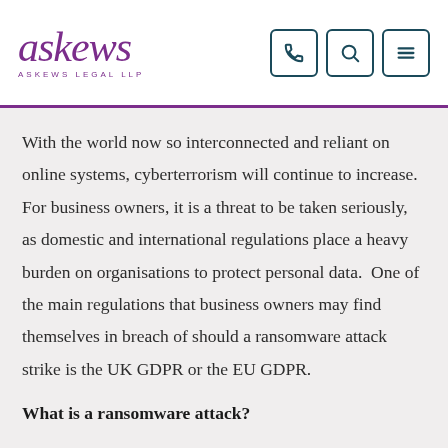askews ASKEWS LEGAL LLP
With the world now so interconnected and reliant on online systems, cyberterrorism will continue to increase.  For business owners, it is a threat to be taken seriously, as domestic and international regulations place a heavy burden on organisations to protect personal data.  One of the main regulations that business owners may find themselves in breach of should a ransomware attack strike is the UK GDPR or the EU GDPR.
What is a ransomware attack?